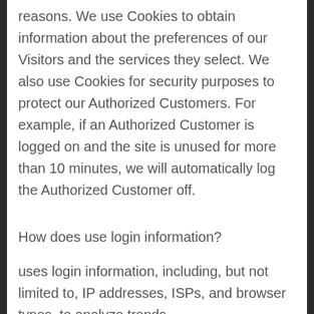reasons. We use Cookies to obtain information about the preferences of our Visitors and the services they select. We also use Cookies for security purposes to protect our Authorized Customers. For example, if an Authorized Customer is logged on and the site is unused for more than 10 minutes, we will automatically log the Authorized Customer off.
How does use login information?
uses login information, including, but not limited to, IP addresses, ISPs, and browser types, to analyze trends,